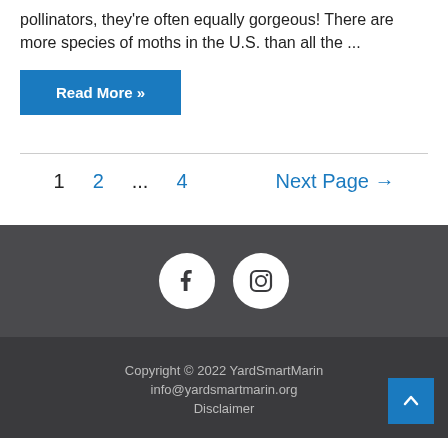pollinators, they're often equally gorgeous! There are more species of moths in the U.S. than all the ...
Read More »
1  2  ...  4  Next Page →
[Figure (illustration): Social media icons: Facebook and Instagram circles in footer]
Copyright © 2022 YardSmartMarin
info@yardsmartmarin.org
Disclaimer